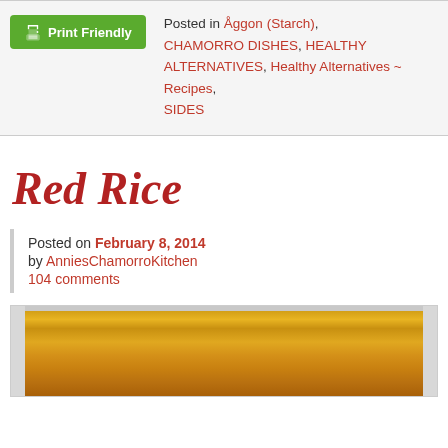Posted in Åggon (Starch), CHAMORRO DISHES, HEALTHY ALTERNATIVES, Healthy Alternatives ~ Recipes, SIDES
Red Rice
Posted on February 8, 2014 by AnniesChamorroKitchen 104 comments
[Figure (photo): Photo of red rice (Chamorro style) in a rice cooker pot, showing orange-tinted cooked rice]